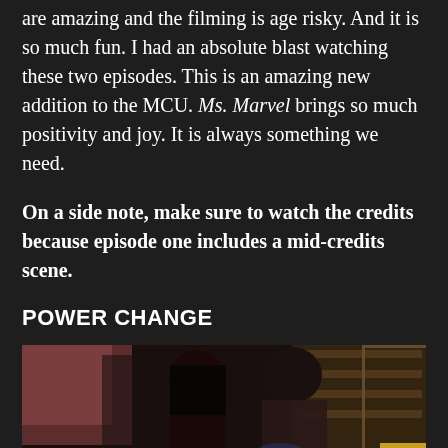are amazing and the filming is age risky. And it is so much fun. I had an absolute blast watching these two episodes. This is an amazing new addition to the MCU. Ms. Marvel brings so much positivity and joy. It is always something we need.
On a side note, make sure to watch the credits because episode one includes a mid-credits scene.
POWER CHANGE
[Figure (photo): Two people sitting together, a young man with glowing blue energy in his hands and a woman with dark hair looking on, set in a dimly lit room with shelves in the background.]